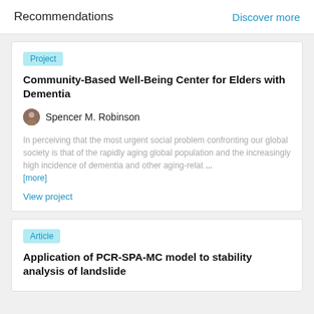Recommendations
Discover more
Project
Community-Based Well-Being Center for Elders with Dementia
Spencer M. Robinson
In perceiving that the most urgent social problem confronting our global society is that of the rapidly aging global population and the increasingly high incidence of dementia and other aging-relat ... [more]
View project
Article
Application of PCR-SPA-MC model to stability analysis of landslide